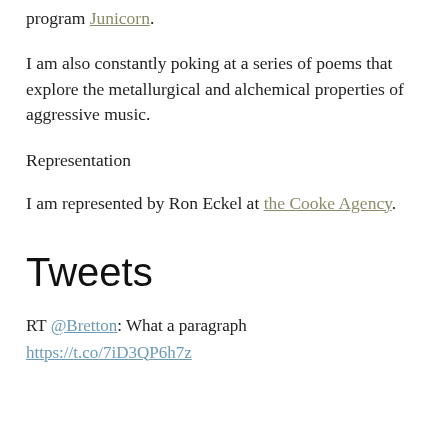program Junicorn.
I am also constantly poking at a series of poems that explore the metallurgical and alchemical properties of aggressive music.
Representation
I am represented by Ron Eckel at the Cooke Agency.
Tweets
RT @Bretton: What a paragraph
https://t.co/7iD3QP6h7z